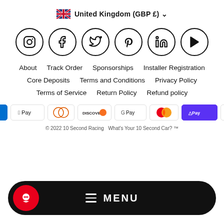United Kingdom (GBP £) ▾
[Figure (illustration): Row of six social media icon circles: Instagram, Facebook, Twitter, Pinterest, LinkedIn, YouTube]
About   Track Order   Sponsorships   Installer Registration
Core Deposits   Terms and Conditions   Privacy Policy
Terms of Service   Return Policy   Refund policy
[Figure (illustration): Payment method badges: Amex, Apple Pay, Diners Club, Discover, Google Pay, Mastercard, Shop Pay, Visa]
© 2022 10 Second Racing   What's Your 10 Second Car? ™
[Figure (illustration): Black pill-shaped menu bar with red chat bubble icon on left and MENU text with hamburger lines in center]